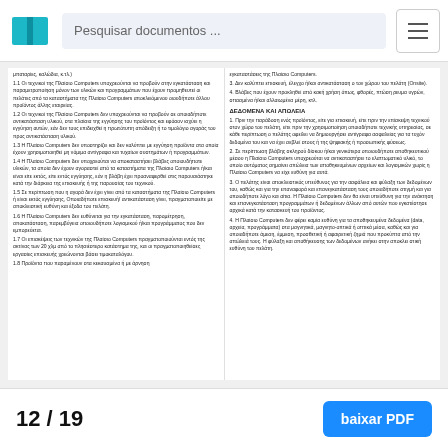Pesquisar documentos ...
μπαταρίες, καλώδια, κ.τλ.)
1.1 Οι τεχνικοί της Πλαίσιο Computers υποχρεούνται να προβούν στην εγκατάσταση και παραμετροποίηση μόνον των υλικών και προγραμμάτων που έχουν προμηθευτεί οι πελάτες από τα καταστήματα της Πλαίσιο Computers αποκλειόμενου οιουδήποτε άλλου προϊόντος άλλης εταιρείας.
1.2 Οι τεχνικοί της Πλαίσιο Computers δεν υποχρεούνται να προβούν σε οποιαδήποτε αντικατάσταση υλικού, στα πλαίσια της εγγύησης του προϊόντος και εφόσον ισχύει η εγγύηση αυτών, εάν δεν τους επιδειχθεί η πρωτότυπη απόδειξη ή το τιμολόγιο αγοράς του προς αντικατάσταση υλικού.
1.3 Η Πλαίσιο Computers δεν υποστηρίζει και δεν καλύπτει με εγγύηση προϊόντα στα οποία έχουν χρησιμοποιηθεί μη νόμιμα αντίγραφα και τυχαίων συστημάτων ή προγραμμάτων.
1.4 Η Πλαίσιο Computers δεν υποχρεούται να αποκαταστήσει βλάβες οποιουδήποτε υλικών, τα οποία δεν έχουν αγοραστεί από τα καταστήματα της Πλαίσιο Computers ή/και είναι είτε εκτός, είτε εντός εγγύησης, εάν η βλάβη έχει προαναφερθεί στις παρουσιάστηκε κατά την διάρκεια της επισκευής ή της παρουσίας του τεχνικού.
1.5 Σε περίπτωση που η αγορά δεν έχει γίνει από τα καταστήματα της Πλαίσιο Computers ή είναι εκτός εγγύησης, Οποιαδήποτε επισκευή/ αντικατάσταση γίνει, πραγματοποιείτε με αποκλειστική ευθύνη και έξοδα του πελάτη.
1.6 Η Πλαίσιο Computers δεν ευθύνεται για την εγκατάσταση, παρομέ τρηση, αποκατάσταση, παρεμβύγεια οποιουδήποτε λογισμικού ή/και προγράμματος που δεν εμπορεύεται.
1.7 Οι επισκέψεις των τεχνικών της Πλαίσιο Computers πραγματοποιούνται εντός της ακτίνας των 20 χλμ από το πλησιέστερο κατάστημα της, και οι πραγματοποιηθείσες εργασίες επισκευής χρεώνονται βάσει τιμοκαταλόγου.
1.8 Προϊόντα που παραμένουν στα κεκαυσμένα ή με άρνηση
εγκαταστάσεις της Πλαίσιο Computers.
3. Δεν καλύπτει επισκευή, έλεγχο ή/και αντικατάσταση ο τον χώρο του πελάτη (Onsite).
4. Βλάβες που έχουν προκληθεί από κακή χρήση όπως, φθορές, πτώση ρευμα υγρών, σπασμένα ή/και αλλαιωμένα μέρη, κτλ.
ΔΕΔΟΜΕΝΑ ΚΑΙ ΑΠΩΛΕΙΑ
1. Πριν την παράδοση ενός προϊόντος, είτε για επισκευή, είτε πριν την επίσκεψη τεχνικού στον χώρο του πελάτη, είτε πριν την χρησιμοποίηση οποιαδήποτε τεχνικής υπηρεσίας, σε κάθε περίπτωση ο πελάτης οφείλει να δημιουργήσει αντίγραφα ασφαλείας για τα τυχόν δεδομένα του και να έχει σεβλεί στους ή της ψηφιακής ή προσωπικής φύσεως.
2. Σε περίπτωση βλάβης σκληρού δίσκου ή/και γενικότερα οποιουδήποτε αποθηκευτικού μέσου η Πλαίσιο Computers υποχρεούται να αντικαταστήσει το ελαττωματικό υλικό, το οποίο αυτόματος σημαίνει απώλεια των αποθηκευμένων αρχείων και λογισμικών χωρίς η Πλαίσιο Computers να είχε ευθύνη για αυτά.
3. Ο πελάτης είναι αποκλειστικός υπεύθυνος για την ασφάλεια και φύλαξη των δεδομένων του, καθώς και για την επαναφορά και επανεγκατάσταση τους οποιαδήποτε στιγμή και για οποιοδήποτε λόγο και αίτια. Η Πλαίσιο Computers δεν θα είναι υπεύθυνη για την ανάκτηση και επανεγκατάσταση προγραμμάτων ή δεδομένων άλλων από αυτών που εγκατέστησε αρχικά κατά την κατασκευή του προϊόντος.
4. Η Πλαίσιο Computers δεν φέρει καμία ευθύνη για τα αποθηκευμένα δεδομένα (data, αρχεία, προγράμματα) στα μαγνητικά, μαγνητο-οπτικά ή οπτικά μέσα, καθώς και για οποιαδήποτε άμεση, έμμεση, προσθετική ή αφαιρετική ζημιά που προκύπτα από την απώλειά τους. Η φύλαξη και αποθήκευσης των δεδομένων ανήκει στην αποκλει στική ευθύνη του πελάτη.
12 / 19